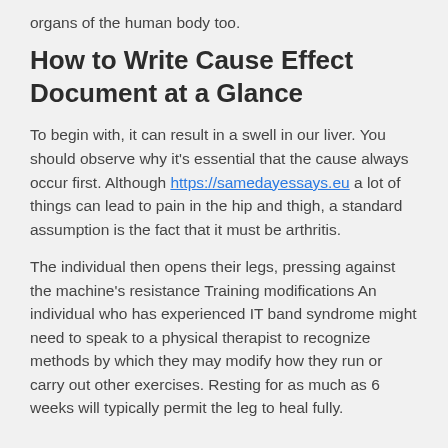organs of the human body too.
How to Write Cause Effect Document at a Glance
To begin with, it can result in a swell in our liver. You should observe why it's essential that the cause always occur first. Although https://samedayessays.eu a lot of things can lead to pain in the hip and thigh, a standard assumption is the fact that it must be arthritis.
The individual then opens their legs, pressing against the machine's resistance Training modifications An individual who has experienced IT band syndrome might need to speak to a physical therapist to recognize methods by which they may modify how they run or carry out other exercises. Resting for as much as 6 weeks will typically permit the leg to heal fully.